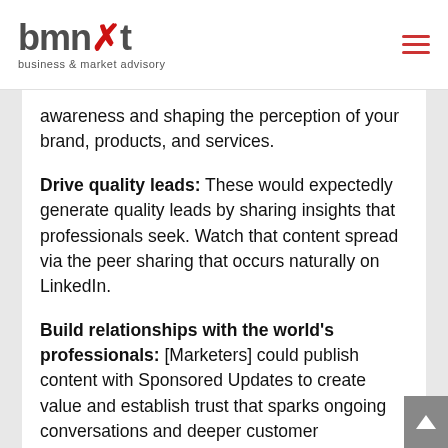[Figure (logo): bmnxt business & market advisory logo with red X accent]
awareness and shaping the perception of your brand, products, and services.
Drive quality leads: These would expectedly generate quality leads by sharing insights that professionals seek. Watch that content spread via the peer sharing that occurs naturally on LinkedIn.
Build relationships with the world’s professionals: [Marketers] could publish content with Sponsored Updates to create value and establish trust that sparks ongoing conversations and deeper customer relationships.